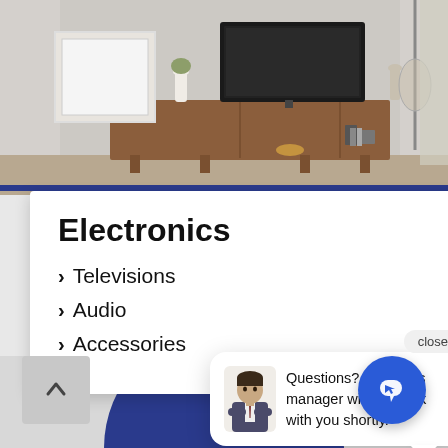[Figure (screenshot): Room photo showing a wooden TV stand with a television mounted above it, decorative items, and a framed picture. Part of a website screenshot.]
Electronics
Televisions
Audio
Accessories
close
Questions? Our sales manager will get back with you shortly.